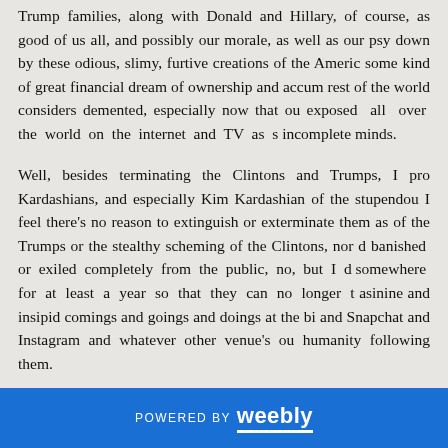Trump families, along with Donald and Hillary, of course, as good of us all, and possibly our morale, as well as our psy down by these odious, slimy, furtive creations of the Americ some kind of great financial dream of ownership and accum rest of the world considers demented, especially now that ou exposed all over the world on the internet and TV as s incomplete minds.
Well, besides terminating the Clintons and Trumps, I pro Kardashians, and especially Kim Kardashian of the stupendou I feel there's no reason to extinguish or exterminate them as of the Trumps or the stealthy scheming of the Clintons, nor d banished or exiled completely from the public, no, but I d somewhere for at least a year so that they can no longer t asinine and insipid comings and goings and doings at the bi and Snapchat and Instagram and whatever other venue's ou humanity following them.
POWERED BY weebly